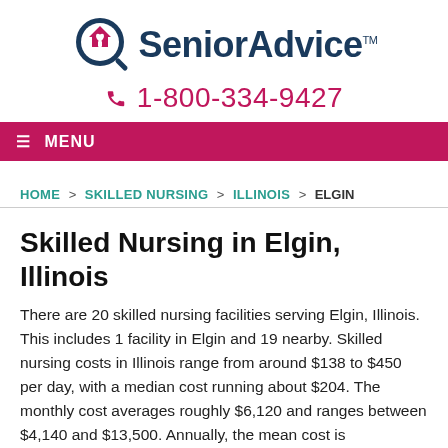[Figure (logo): SeniorAdvice logo with magnifying glass icon containing a house with a heart, and the text SeniorAdvice with TM mark]
1-800-334-9427
≡ MENU
HOME > SKILLED NURSING > ILLINOIS > ELGIN
Skilled Nursing in Elgin, Illinois
There are 20 skilled nursing facilities serving Elgin, Illinois. This includes 1 facility in Elgin and 19 nearby. Skilled nursing costs in Illinois range from around $138 to $450 per day, with a median cost running about $204. The monthly cost averages roughly $6,120 and ranges between $4,140 and $13,500. Annually, the mean cost is